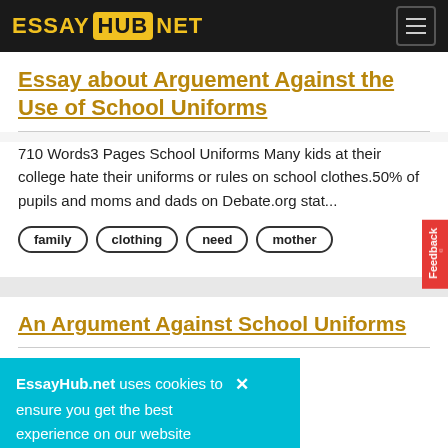ESSAY HUB NET
Essay about Arguement Against the Use of School Uniforms
710 Words3 Pages School Uniforms Many kids at their college hate their uniforms or rules on school clothes.50% of pupils and moms and dads on Debate.org stat...
family
clothing
need
mother
An Argument Against School Uniforms
EssayHub.net uses cookies to ensure you get the best experience on our website
n this country t they hile increasing test scores....